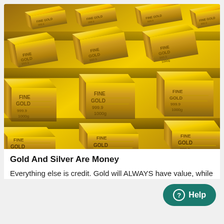[Figure (photo): Stock photo of stacked gold bars/bullion with 'FINE GOLD 999.9' and '1000g' markings, arranged in rows receding into the background]
Gold And Silver Are Money
Everything else is credit. Gold will ALWAYS have value, while money is just green tinted paper with dead Presiden...
Gold You Hold | Sponsored